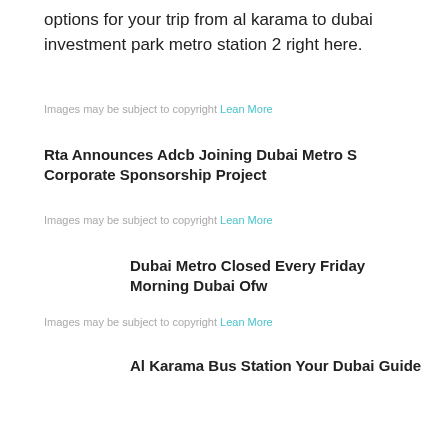options for your trip from al karama to dubai investment park metro station 2 right here.
Images may be subject to copyright Lean More
Rta Announces Adcb Joining Dubai Metro S Corporate Sponsorship Project
Images may be subject to copyright Lean More
Dubai Metro Closed Every Friday Morning Dubai Ofw
Images may be subject to copyright Lean More
Al Karama Bus Station Your Dubai Guide